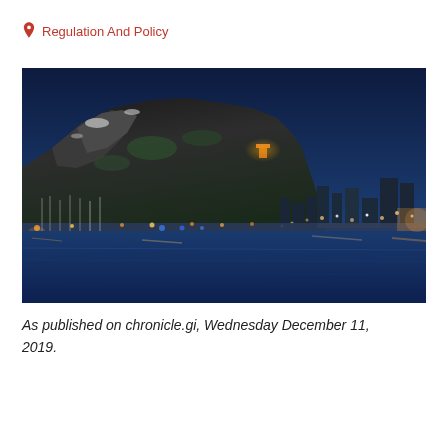Regulation And Policy
[Figure (photo): Night-time panoramic photograph of Gibraltar — the Rock of Gibraltar dominates the background with city lights and a marina visible along the waterfront, reflected in the calm blue bay waters in the foreground.]
As published on chronicle.gi, Wednesday December 11, 2019.